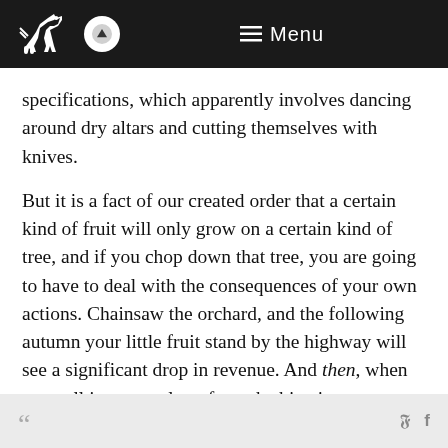Menu
specifications, which apparently involves dancing around dry altars and cutting themselves with knives.
But it is a fact of our created order that a certain kind of fruit will only grow on a certain kind of tree, and if you chop down that tree, you are going to have to deal with the consequences of your own actions. Chainsaw the orchard, and the following autumn your little fruit stand by the highway will see a significant drop in revenue. And then, when you call in a consultant from the big city to examine your business model, he will say something like "your problem is that you chainsawed your orchard, and you don't have any more apples." Then he will hand you his bill.
““